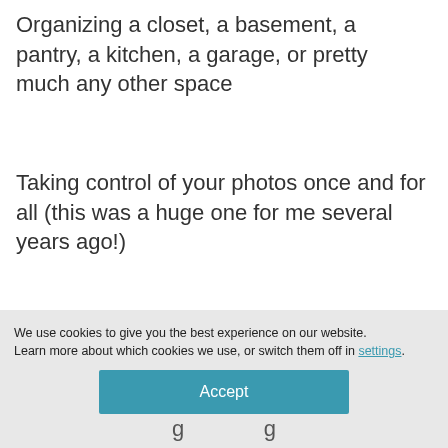Organizing a closet, a basement, a pantry, a kitchen, a garage, or pretty much any other space
Taking control of your photos once and for all (this was a huge one for me several years ago!)
We use cookies to give you the best experience on our website.
Learn more about which cookies we use, or switch them off in settings.
Accept
g g